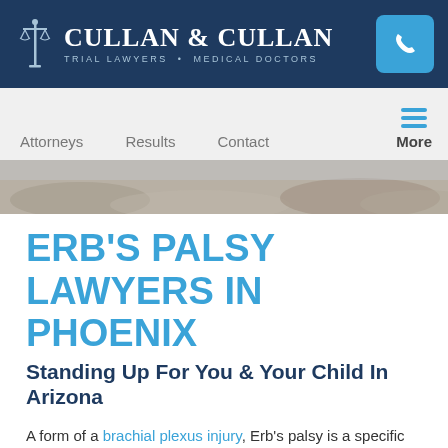CULLAN & CULLAN — TRIAL LAWYERS • MEDICAL DOCTORS
[Figure (logo): Cullan & Cullan logo with scales of justice icon, white text on dark navy background, with blue phone icon button top right]
[Figure (other): Navigation bar with links: Attorneys, Results, Contact, More (hamburger menu icon in blue)]
[Figure (photo): Hero image strip showing a textured outdoor scene or landscape, muted earth tones]
ERB'S PALSY LAWYERS IN PHOENIX
Standing Up For You & Your Child In Arizona
A form of a brachial plexus injury, Erb's palsy is a specific upper arm injury suffered by a child during or shortly after birth. Just as with brachial plexus and